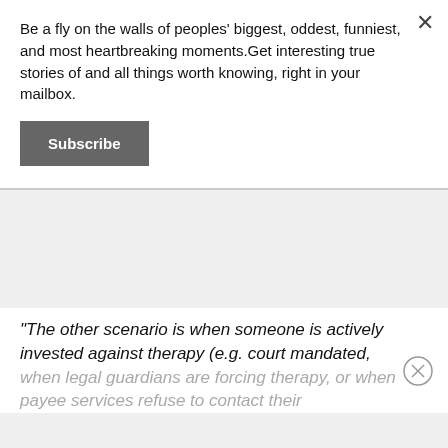Be a fly on the walls of peoples' biggest, oddest, funniest, and most heartbreaking moments.Get interesting true stories of and all things worth knowing, right in your mailbox.
Subscribe
[Figure (other): Gray rectangular content/ad area]
"The other scenario is when someone is actively invested against therapy (e.g. court mandated, when legal guardians are forcing therapy, or when payee services refuse to contact their